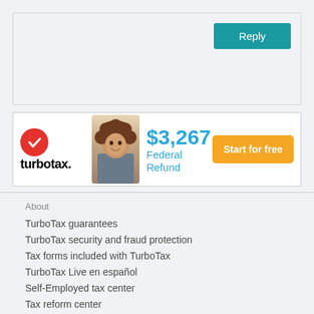[Figure (screenshot): Reply button on a teal/turquoise background in a forum or comment section interface]
[Figure (infographic): TurboTax advertisement banner showing logo with red checkmark circle, woman with curly hair, '$3,267 Federal Refund' in blue text, and orange 'Start for free' button]
About
TurboTax guarantees
TurboTax security and fraud protection
Tax forms included with TurboTax
TurboTax Live en español
Self-Employed tax center
Tax reform center
Tax Refund Advance
E-file taxes online
Coronavirus and your taxes
Self Employed COVID-19 Relief
Unemployment Benefits and Taxes